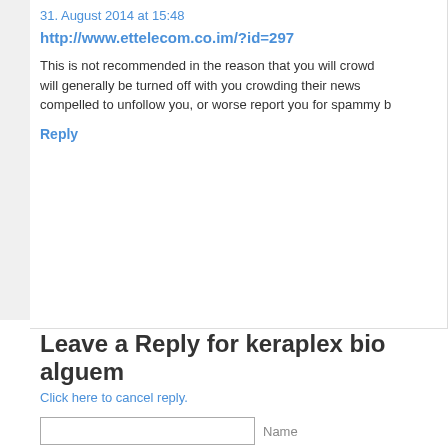31. August 2014 at 15:48
http://www.ettelecom.co.im/?id=297
This is not recommended in the reason that you will crowd... will generally be turned off with you crowding their news... compelled to unfollow you, or worse report you for spammy b...
Reply
Leave a Reply for keraplex bio alguem
Click here to cancel reply.
Name
Mail (will not be publish...
Website